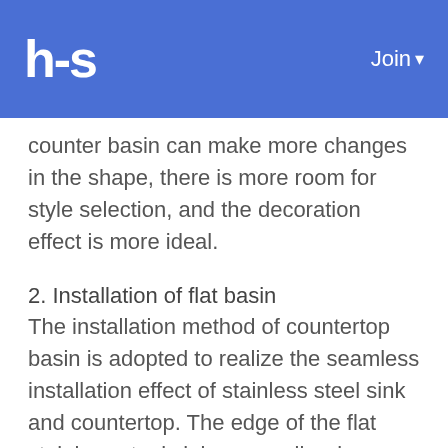hs   Join
counter basin can make more changes in the shape, there is more room for style selection, and the decoration effect is more ideal.
2. Installation of flat basin
The installation method of countertop basin is adopted to realize the seamless installation effect of stainless steel sink and countertop. The edge of the flat stainless steel sink can easily wipe water droplets and other stains into the stainless steel sink. No stains will be left in the gap between the stainless steel sink and the countertop, which is safe and sanitary. Due to the seamless installation of the